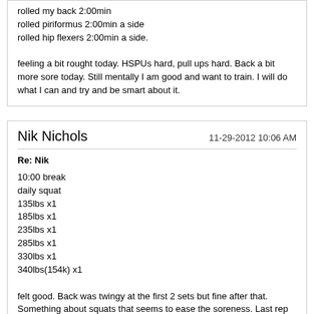rolled my back 2:00min
rolled piriformus 2:00min a side
rolled hip flexers 2:00min a side.

feeling a bit rought today. HSPUs hard, pull ups hard. Back a bit more sore today. Still mentally I am good and want to train. I will do what I can and try and be smart about it.
Nik Nichols
11-29-2012 10:06 AM
Re: Nik
10:00 break
daily squat
135lbs x1
185lbs x1
235lbs x1
285lbs x1
330lbs x1
340lbs(154k) x1

felt good. Back was twingy at the first 2 sets but fine after that. Something about squats that seems to ease the soreness. Last rep ok, knees went in a bit because I was so focused on my back that I was not focused on knees out. But not bad.
Nik Nichols
11-29-2012 12:48 PM